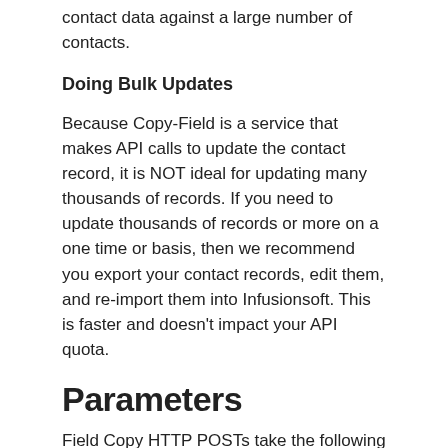contact data against a large number of contacts.
Doing Bulk Updates
Because Copy-Field is a service that makes API calls to update the contact record, it is NOT ideal for updating many thousands of records. If you need to update thousands of records or more on a one time or basis, then we recommend you export your contact records, edit them, and re-import them into Infusionsoft. This is faster and doesn't impact your API quota.
Parameters
Field Copy HTTP POSTs take the following parameters
source: Name of the field you are copying the data from. Custom field names must be prefixed by an underscore (_)